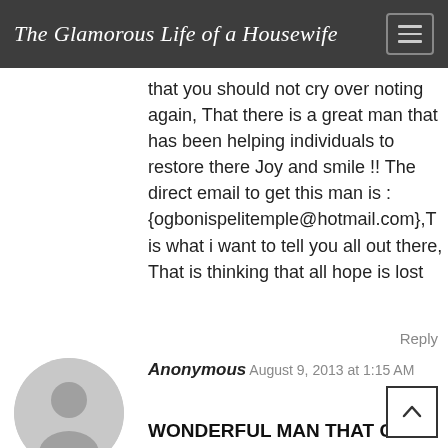The Glamorous Life of a Housewife
that you should not cry over noting again, That there is a great man that has been helping individuals to restore there Joy and smile !! The direct email to get this man is : {ogbonispelitemple@hotmail.com},T is what i want to tell you all out there, That is thinking that all hope is lost
Reply
Anonymous August 9, 2013 at 1:15 AM
WONDERFUL MAN THAT GIVE MY FAMILY JOY AND HAPPINESS AND MAY MY GOD BLESS YOU